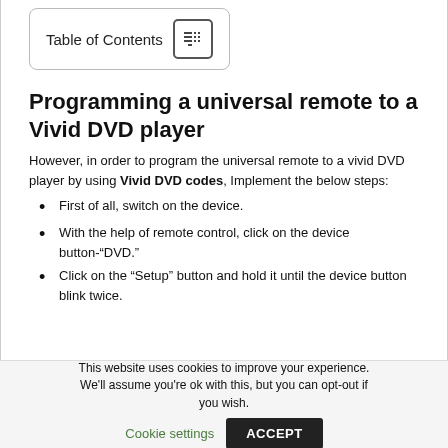Table of Contents
Programming a universal remote to a Vivid DVD player
However, in order to program the universal remote to a vivid DVD player by using Vivid DVD codes, Implement the below steps:
First of all, switch on the device.
With the help of remote control, click on the device button-“DVD.”
Click on the “Setup” button and hold it until the device button blink twice.
This website uses cookies to improve your experience. We'll assume you're ok with this, but you can opt-out if you wish. Cookie settings ACCEPT